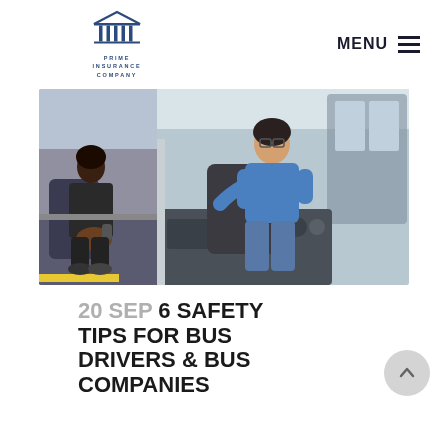PRIME INSURANCE COMPANY | MENU
[Figure (photo): Two-panel photo: left panel shows a bus passenger (young woman with dark hair, dark jacket) seated looking out the window; right panel shows a bus driver (man in blue shirt, glasses) at the steering wheel of a modern bus.]
20 SEP 6 SAFETY TIPS FOR BUS DRIVERS & BUS COMPANIES